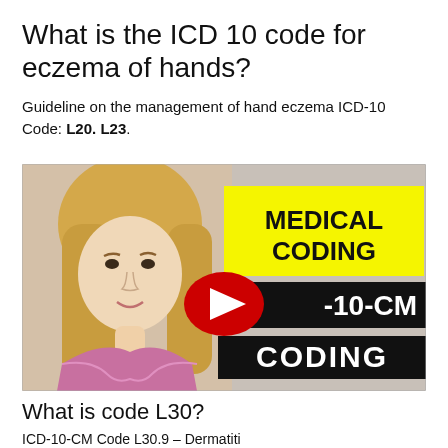What is the ICD 10 code for eczema of hands?
Guideline on the management of hand eczema ICD-10 Code: L20. L23.
[Figure (screenshot): YouTube video thumbnail showing a woman with blonde hair on the left side, and bold text overlays: yellow banner reading 'MEDICAL CODING', black banner reading 'ICD-10-CM', black banner reading 'CODING', with a YouTube play button in the center.]
What is code L30?
ICD-10-CM Code L30.9 – Dermatitis